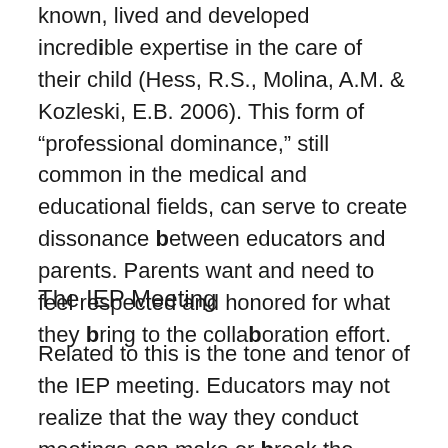known, lived and developed incredible expertise in the care of their child (Hess, R.S., Molina, A.M. & Kozleski, E.B. 2006). This form of "professional dominance," still common in the medical and educational fields, can serve to create dissonance between educators and parents. Parents want and need to feel respected and honored for what they bring to the collaboration effort.
The IEP Meeting
Related to this is the tone and tenor of the IEP meeting. Educators may not realize that the way they conduct meetings can make or break the collaboration experience. IEP meetings are stressful for parents due to the medical model that continues to pervade Special Education. The terminology in evaluation and IEP proceedings can be fore and overwhelming. Parents and caregivers have to